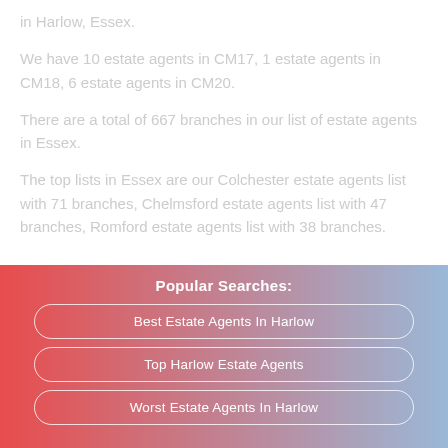in Harlow, Essex.
We have 10 estate agents in CM17, 1 estate agents in CM18, 6 estate agents in CM20.
There are a total of 667 branches in our list of estate agents in Essex.
The top lists in Essex are our Colchester estate agents list with 71 branches, Chelmsford estate agents list with 47 branches, Romford estate agents list with 38 branches.
Popular Searches:
Best Estate Agents In Harlow
Top Harlow Estate Agents
Worst Estate Agents In Harlow